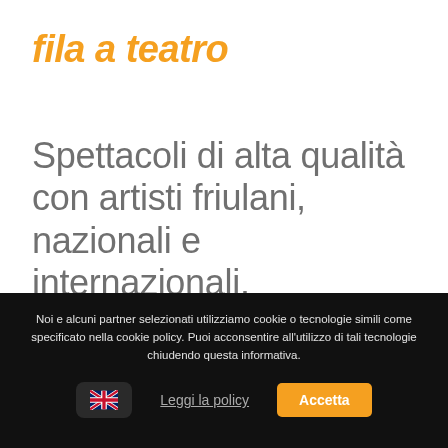fila a teatro
Spettacoli di alta qualità con artisti friulani, nazionali e internazionali.
Noi e alcuni partner selezionati utilizziamo cookie o tecnologie simili come specificato nella cookie policy. Puoi acconsentire all'utilizzo di tali tecnologie chiudendo questa informativa.
Leggi la policy
Accetta